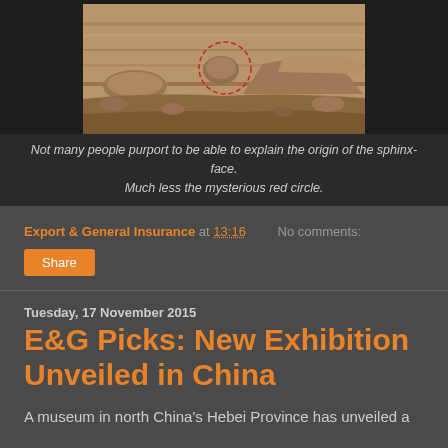[Figure (photo): Mars surface photo with reddish-brown rocky terrain, a red dashed circle highlighting a sphinx-like formation in the center]
Not many people purport to be able to explain the origin of the sphinx-face. Much less the mysterious red circle.
Export & General Insurance at 13:16   No comments:
Share
Tuesday, 17 November 2015
E&G Picks: New Exhibition Unveiled in China
A museum in north China's Hebei Province has unveiled a